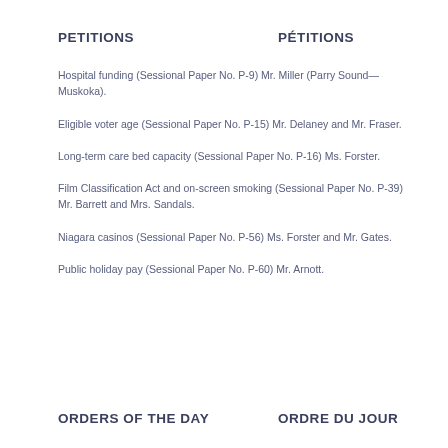PETITIONS
PÉTITIONS
Hospital funding (Sessional Paper No. P-9) Mr. Miller (Parry Sound—Muskoka).
Eligible voter age (Sessional Paper No. P-15) Mr. Delaney and Mr. Fraser.
Long-term care bed capacity (Sessional Paper No. P-16) Ms. Forster.
Film Classification Act and on-screen smoking (Sessional Paper No. P-39) Mr. Barrett and Mrs. Sandals.
Niagara casinos (Sessional Paper No. P-56) Ms. Forster and Mr. Gates.
Public holiday pay (Sessional Paper No. P-60) Mr. Arnott.
ORDERS OF THE DAY
ORDRE DU JOUR